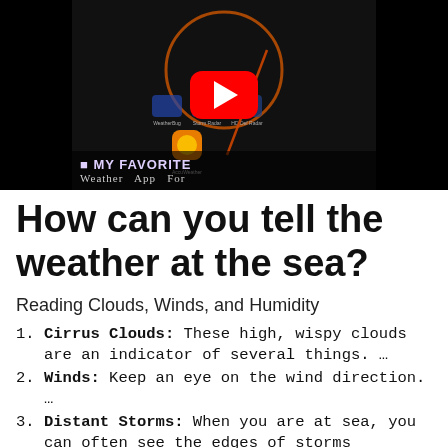[Figure (screenshot): YouTube video thumbnail showing a phone screen with weather apps, a red YouTube play button overlay, and text 'MY FAVORITE Weather App For' at the bottom.]
How can you tell the weather at the sea?
Reading Clouds, Winds, and Humidity
Cirrus Clouds: These high, wispy clouds are an indicator of several things. …
Winds: Keep an eye on the wind direction. …
Distant Storms: When you are at sea, you can often see the edges of storms